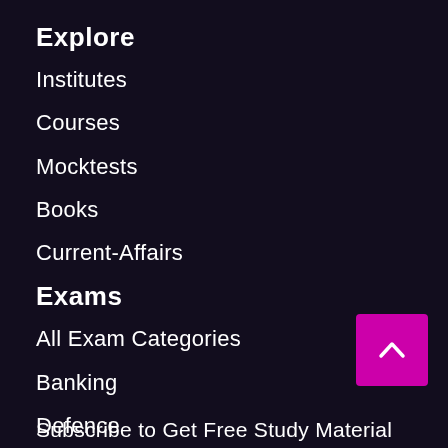Explore
Institutes
Courses
Mocktests
Books
Current-Affairs
Exams
All Exam Categories
Banking
Defence
NTA
Public Service Exams
SSC
Connect @ PadhaiKaro
Subscribe to Get Free Study Material